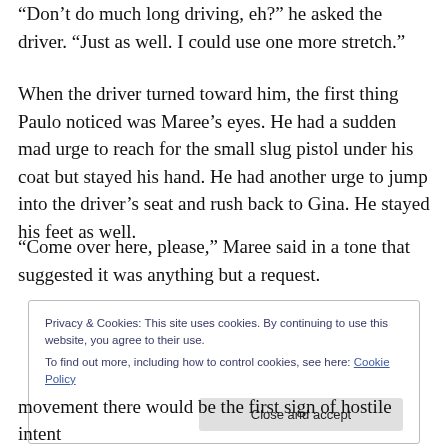“Don’t do much long driving, eh?” he asked the driver. “Just as well. I could use one more stretch.”
When the driver turned toward him, the first thing Paulo noticed was Maree’s eyes. He had a sudden mad urge to reach for the small slug pistol under his coat but stayed his hand. He had another urge to jump into the driver’s seat and rush back to Gina. He stayed his feet as well.
“Come over here, please,” Maree said in a tone that suggested it was anything but a request.
Privacy & Cookies: This site uses cookies. By continuing to use this website, you agree to their use.
To find out more, including how to control cookies, see here: Cookie Policy
movement there would be the first sign of hostile intent